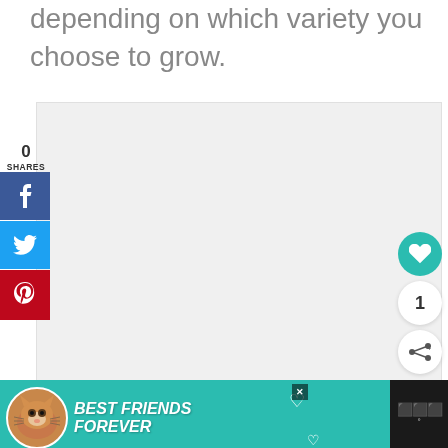depending on which variety you choose to grow.
[Figure (other): Light gray placeholder image area for an article photo]
0 SHARES
[Figure (infographic): Social share buttons: Facebook (blue), Twitter (blue), Pinterest (red)]
[Figure (infographic): Right side action buttons: teal heart/like button, count showing 1, share button]
[Figure (infographic): Bottom advertisement banner: Best Friends Forever cat ad with teal background, close button, and dark logo area]